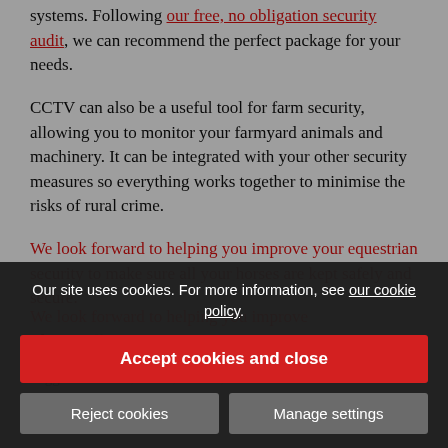systems. Following our free, no obligation security audit, we can recommend the perfect package for your needs.
CCTV can also be a useful tool for farm security, allowing you to monitor your farmyard animals and machinery. It can be integrated with your other security measures so everything works together to minimise the risks of rural crime.
We look forward to helping you improve your equestrian security to make sure all your horses are kept safely and secure.
Please...
Tagged as: horse, farms, stables, CCTV
Share this post
Our site uses cookies. For more information, see our cookie policy.